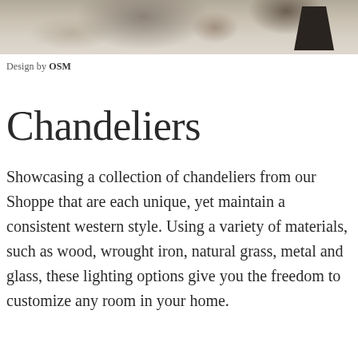[Figure (photo): A close-up photo of rocks or stone surfaces in natural tones of brown, grey, and beige, with a dark object visible at the top right.]
Design by OSM
Chandeliers
Showcasing a collection of chandeliers from our Shoppe that are each unique, yet maintain a consistent western style. Using a variety of materials, such as wood, wrought iron, natural grass, metal and glass, these lighting options give you the freedom to customize any room in your home.